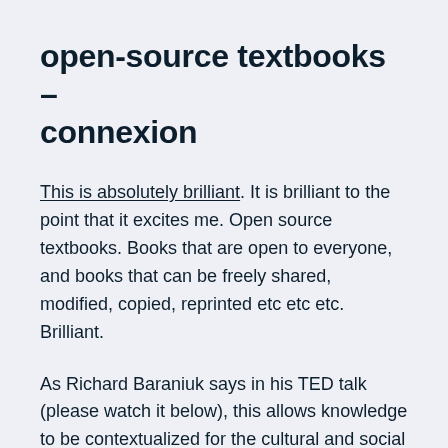open-source textbooks – connexion
This is absolutely brilliant. It is brilliant to the point that it excites me. Open source textbooks. Books that are open to everyone, and books that can be freely shared, modified, copied, reprinted etc etc etc. Brilliant.
As Richard Baraniuk says in his TED talk (please watch it below), this allows knowledge to be contextualized for the cultural and social regions it will be used in. That is not only brilliant but